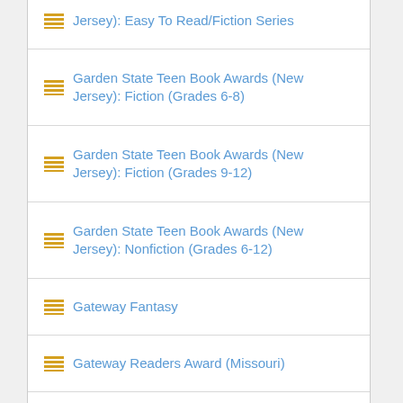Garden State Teen Book Awards (New Jersey): Easy To Read/Fiction Series
Garden State Teen Book Awards (New Jersey): Fiction (Grades 6-8)
Garden State Teen Book Awards (New Jersey): Fiction (Grades 9-12)
Garden State Teen Book Awards (New Jersey): Nonfiction (Grades 6-12)
Gateway Fantasy
Gateway Readers Award (Missouri)
General True Crime
Gentle Reads
Geoffrey Bilson Award for Historical Fiction